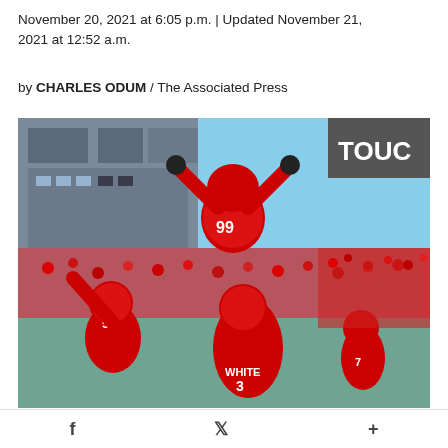November 20, 2021 at 6:05 p.m. | Updated November 21, 2021 at 12:52 a.m.
by CHARLES ODUM / The Associated Press
[Figure (photo): Georgia football players celebrating on field — defensive lineman #99 being lifted up by teammates including #59 and WHITE #3, with crowd in background. Red uniforms, Sanford Stadium.]
AP photo by John Bazemore / Georgia defensive lineman Jordan
f  𝕏  +